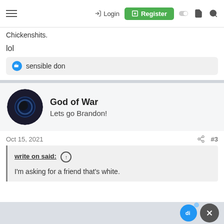Login  Register
Chickenshits.
lol
👍 sensible don
God of War
Lets go Brandon!
Oct 15, 2021   #3
write on said:
I'm asking for a friend that's white.